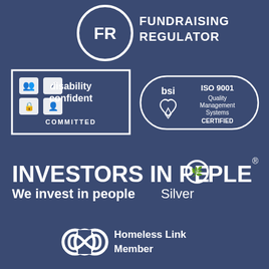[Figure (logo): Fundraising Regulator logo - FR in circle with text FUNDRAISING REGULATOR]
[Figure (logo): Disability Confident Committed logo - white icons in box]
[Figure (logo): BSI ISO 9001 Quality Management Systems Certified logo]
[Figure (logo): Investors in People - We invest in people Silver logo]
[Figure (logo): Homeless Link Member logo with infinity symbol]